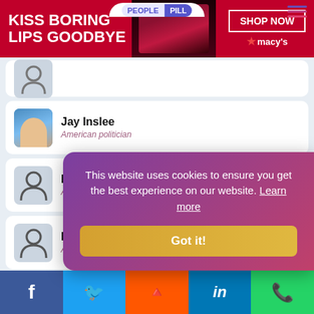[Figure (screenshot): Advertisement banner for Macy's: 'KISS BORING LIPS GOODBYE' with SHOP NOW button and Macy's star logo]
Jay Inslee - American politician
Dave Camp - American politician
Bob Goodlatte - American politician
Dan Boren - American politician
Rob Woodall - American politician
This website uses cookies to ensure you get the best experience on our website. Learn more
Got it!